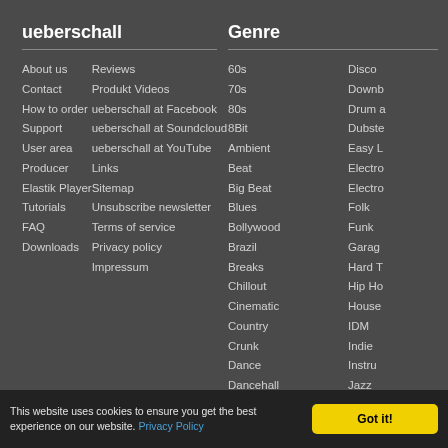ueberschall
About us
Contact
How to order
Support
User area
Producer
Elastik Player
Tutorials
FAQ
Downloads
Reviews
Produkt Videos
ueberschall at Facebook
ueberschall at Soundcloud
ueberschall at YouTube
Links
Sitemap
Unsubscribe newsletter
Terms of service
Privacy policy
Impressum
Genre
60s
70s
80s
8Bit
Ambient
Beat
Big Beat
Blues
Bollywood
Brazil
Breaks
Chillout
Cinematic
Country
Crunk
Dance
Dancehall
Deep House
Disco
Downb
Drum a
Dubste
Easy L
Electro
Electro
Folk
Funk
Garag
Hard T
Hip Ho
House
IDM
Indie
Instru
Jazz
Latin
This website uses cookies to ensure you get the best experience on our website. Privacy Policy
Got it!